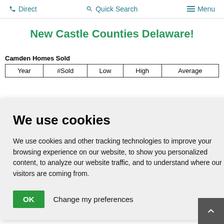Direct   Quick Search   Menu
New Castle Counties Delaware!
Camden Homes Sold
| Year | #Sold | Low | High | Average |
| --- | --- | --- | --- | --- |
We use cookies
We use cookies and other tracking technologies to improve your browsing experience on our website, to show you personalized content, to analyze our website traffic, and to understand where our visitors are coming from.
OK   Change my preferences